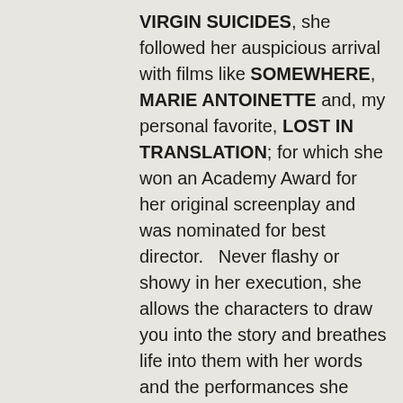VIRGIN SUICIDES, she followed her auspicious arrival with films like SOMEWHERE, MARIE ANTOINETTE and, my personal favorite, LOST IN TRANSLATION; for which she won an Academy Award for her original screenplay and was nominated for best director.   Never flashy or showy in her execution, she allows the characters to draw you into the story and breathes life into them with her words and the performances she draws from her actors.   Coppola is known for her original works as well as her adaptations but to date has never tackled a remake.   Her latest film, THE BEGUILED, does serve as a remake of the 1971 film of the same name but is primarily a new take on